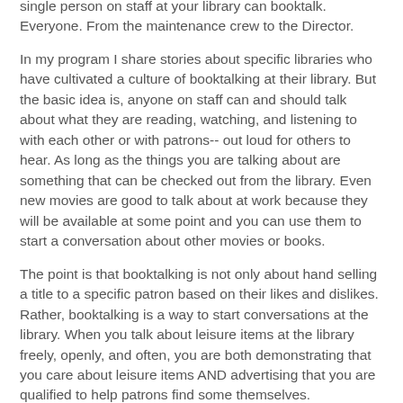single person on staff at your library can booktalk. Everyone. From the maintenance crew to the Director.
In my program I share stories about specific libraries who have cultivated a culture of booktalking at their library. But the basic idea is, anyone on staff can and should talk about what they are reading, watching, and listening to with each other or with patrons-- out loud for others to hear. As long as the things you are talking about are something that can be checked out from the library. Even new movies are good to talk about at work because they will be available at some point and you can use them to start a conversation about other movies or books.
The point is that booktalking is not only about hand selling a title to a specific patron based on their likes and dislikes. Rather, booktalking is a way to start conversations at the library. When you talk about leisure items at the library freely, openly, and often, you are both demonstrating that you care about leisure items AND advertising that you are qualified to help patrons find some themselves.